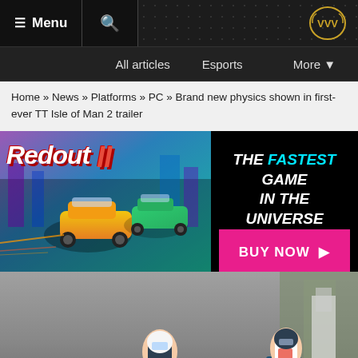≡ Menu  🔍  [VVV Logo]
All articles  Esports  More ▾
Home » News » Platforms » PC » Brand new physics shown in first-ever TT Isle of Man 2 trailer
[Figure (screenshot): Redout II game advertisement banner showing futuristic racing cars with text THE FASTEST GAME IN THE UNIVERSE and BUY NOW button]
[Figure (photo): Motorcycle racer in white and blue gear leaning into a corner, background shows countryside. News badge overlay at bottom left.]